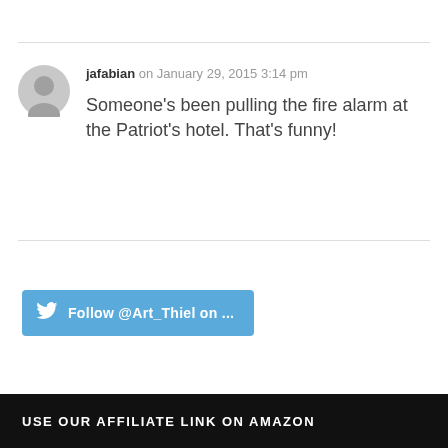jafabian on January 29, 2015 3:14 pm
Someone's been pulling the fire alarm at the Patriot's hotel. That's funny!
[Figure (other): Twitter Follow button: Follow @Art_Thiel on ...]
USE OUR AFFILIATE LINK ON AMAZON